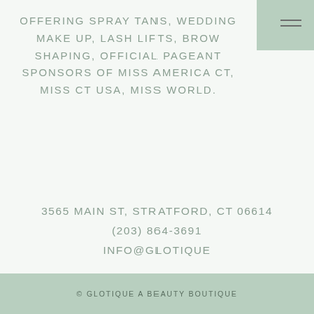OFFERING SPRAY TANS, WEDDING MAKE UP, LASH LIFTS, BROW SHAPING, OFFICIAL PAGEANT SPONSORS OF MISS AMERICA CT, MISS CT USA, MISS WORLD.
3565 MAIN ST, STRATFORD, CT 06614
(203) 864-3691
INFO@GLOTIQUE
[Figure (other): Social media icons: Facebook (f) and Instagram (camera) icons in black]
© GLOTIQUE A BEAUTY BOUTIQUE